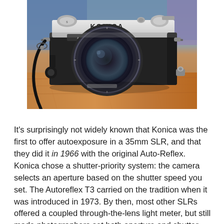[Figure (photo): A Konica Autoreflex T3 35mm SLR film camera with a large lens, sitting on a wooden surface. The camera is silver and black with 'KONICA' text on the top. A camera strap is attached.]
It's surprisingly not widely known that Konica was the first to offer autoexposure in a 35mm SLR, and that they did it in 1966 with the original Auto-Reflex. Konica chose a shutter-priority system: the camera selects an aperture based on the shutter speed you set. The Autoreflex T3 carried on the tradition when it was introduced in 1973. By then, most other SLRs offered a coupled through-the-lens light meter, but still made photographers set both aperture and shutter speed until a